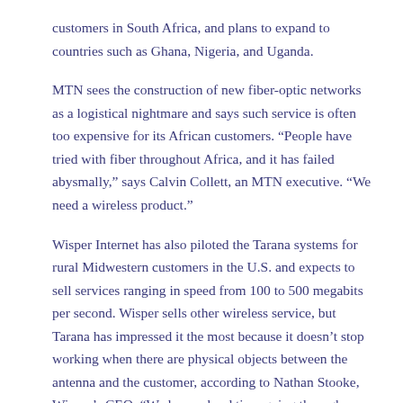customers in South Africa, and plans to expand to countries such as Ghana, Nigeria, and Uganda.
MTN sees the construction of new fiber-optic networks as a logistical nightmare and says such service is often too expensive for its African customers. “People have tried with fiber throughout Africa, and it has failed abysmally,” says Calvin Collett, an MTN executive. “We need a wireless product.”
Wisper Internet has also piloted the Tarana systems for rural Midwestern customers in the U.S. and expects to sell services ranging in speed from 100 to 500 megabits per second. Wisper sells other wireless service, but Tarana has impressed it the most because it doesn’t stop working when there are physical objects between the antenna and the customer, according to Nathan Stooke, Wisper’s CEO. “We have a hard time going through trees,” he says.